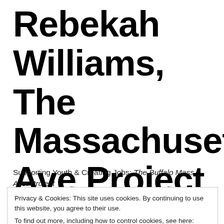Rebekah Williams, The Massachusetts Ave Project
Supporting Youth & Creating Jobs: The Buffalo Mass Ave. Project
Privacy & Cookies: This site uses cookies. By continuing to use this website, you agree to their use.
To find out more, including how to control cookies, see here: Cookie Policy